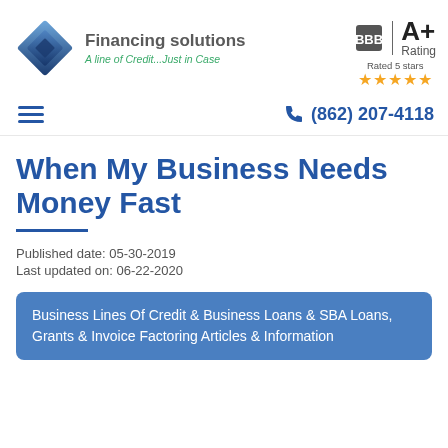[Figure (logo): Blue diamond/gem logo for Financing Solutions with tagline 'A line of Credit...Just in Case']
[Figure (logo): BBB A+ Rating badge with 5 gold stars, 'Rated 5 stars']
[Figure (other): Hamburger menu icon (three horizontal blue lines)]
(862) 207-4118
When My Business Needs Money Fast
Published date: 05-30-2019
Last updated on: 06-22-2020
Business Lines Of Credit & Business Loans & SBA Loans, Grants & Invoice Factoring Articles & Information